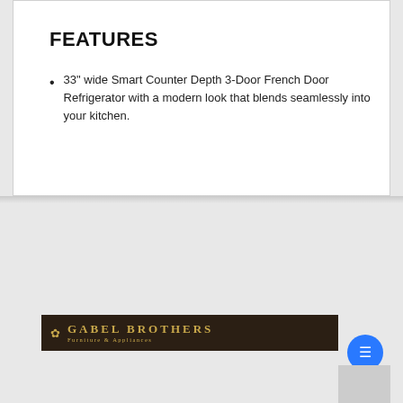FEATURES
33" wide Smart Counter Depth 3-Door French Door Refrigerator with a modern look that blends seamlessly into your kitchen.
[Figure (logo): Gabel Brothers Furniture & Appliances logo banner — dark brown background with gold snowflake icon and gold text reading GABEL BROTHERS Furniture & Appliances]